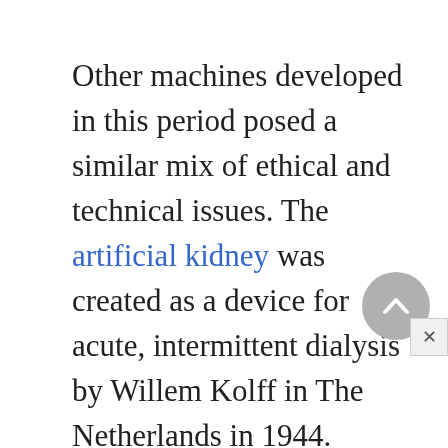Other machines developed in this period posed a similar mix of ethical and technical issues. The artificial kidney was created as a device for acute, intermittent dialysis by Willem Kolff in The Netherlands in 1944. However, it was introduced as a clinically usable machine in the early 1960s in Seattle, Washington, by Belding Schribner. He added an arteriovenous shunt that allowed long-